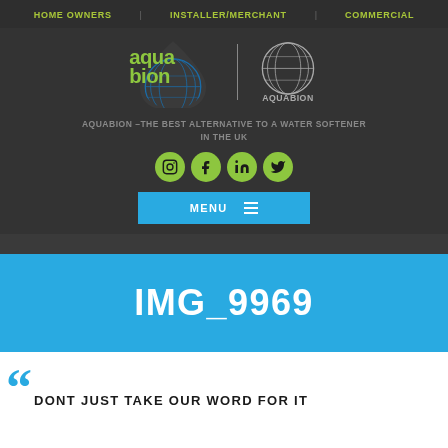HOME OWNERS | INSTALLER/MERCHANT | COMMERCIAL
[Figure (logo): Aquabion logo: colorful water drop with text 'aquabion' and separate globe logo with 'AQUABION' text]
AQUABION –THE BEST ALTERNATIVE TO A WATER SOFTENER IN THE UK
[Figure (infographic): Social media icons row: Instagram, Facebook, LinkedIn, Twitter — all in green circles]
MENU ☰
IMG_9969
DONT JUST TAKE OUR WORD FOR IT